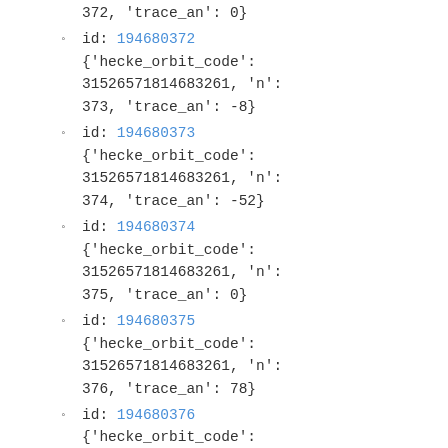372, 'trace_an': 0}
id: 194680372 {'hecke_orbit_code': 31526571814683261, 'n': 373, 'trace_an': -8}
id: 194680373 {'hecke_orbit_code': 31526571814683261, 'n': 374, 'trace_an': -52}
id: 194680374 {'hecke_orbit_code': 31526571814683261, 'n': 375, 'trace_an': 0}
id: 194680375 {'hecke_orbit_code': 31526571814683261, 'n': 376, 'trace_an': 78}
id: 194680376 {'hecke_orbit_code': 31526571814683261, 'n': 377, 'trace_an': -100}